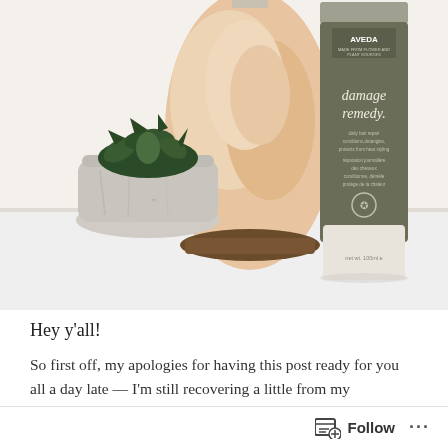[Figure (photo): A flat-lay style photo on a white surface showing: a concrete/stone planter pot with a small succulent plant, a pink Himalayan salt lamp on a wooden base, and an Aveda 'damage remedy' hair product tube (dark olive/green color, 100ml). The background is a clean white wall and white surface.]
Hey y'all!
So first off, my apologies for having this post ready for you all a day late — I'm still recovering a little from my